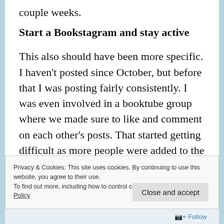couple weeks.
Start a Bookstagram and stay active
This also should have been more specific. I haven't posted since October, but before that I was posting fairly consistently. I was even involved in a booktube group where we made sure to like and comment on each other's posts. That started getting difficult as more people were added to the group, so I eventually left.
Privacy & Cookies: This site uses cookies. By continuing to use this website, you agree to their use.
To find out more, including how to control cookies, see here: Cookie Policy
Close and accept